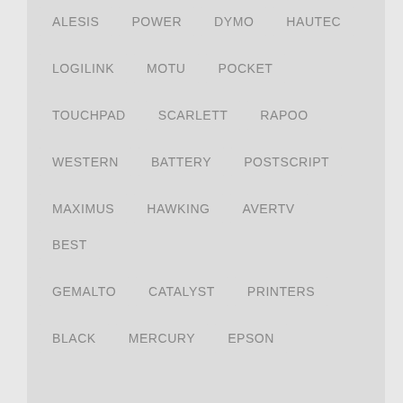ALESIS  POWER  DYMO  HAUTEC
LOGILINK  MOTU  POCKET
TOUCHPAD  SCARLETT  RAPOO
WESTERN  BATTERY  POSTSCRIPT
MAXIMUS  HAWKING  AVERTV  BEST
GEMALTO  CATALYST  PRINTERS
BLACK  MERCURY  EPSON